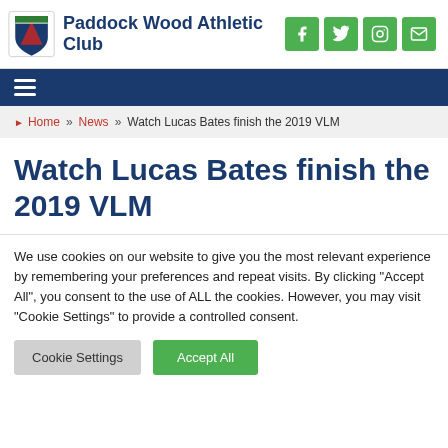Paddock Wood Athletic Club
Home » News » Watch Lucas Bates finish the 2019 VLM
Watch Lucas Bates finish the 2019 VLM
We use cookies on our website to give you the most relevant experience by remembering your preferences and repeat visits. By clicking "Accept All", you consent to the use of ALL the cookies. However, you may visit "Cookie Settings" to provide a controlled consent.